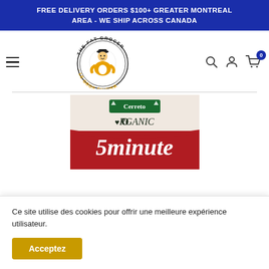FREE DELIVERY ORDERS $100+ GREATER MONTREAL AREA - WE SHIP ACROSS CANADA
[Figure (logo): The Fat Grocer / Le Gros Épicier logo — circular badge with a cartoon grocer character, text 'THE FAT GROCER' and 'LE GROS ÉPICIER']
[Figure (photo): Cerreto Organic 5 Minute product packaging — red and white box showing 'Cerreto', 'ORGANIC' with heart icon, '5minute' in script font, and 'FAGIOLI ROSSI' at bottom]
Ce site utilise des cookies pour offrir une meilleure expérience utilisateur.
Acceptez